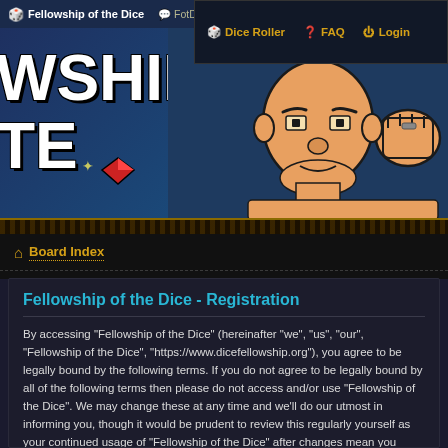Fellowship of the Dice | FotD Chat Room | FotD Facebook | Dice Roller | FAQ | Login
[Figure (screenshot): Website banner showing 'FELLOWSHIP OF THE DICE' text with illustrated cartoon characters on a blue background]
Board Index
Fellowship of the Dice - Registration
By accessing “Fellowship of the Dice” (hereinafter “we”, “us”, “our”, “Fellowship of the Dice”, “https://www.dicefellowship.org”), you agree to be legally bound by the following terms. If you do not agree to be legally bound by all of the following terms then please do not access and/or use “Fellowship of the Dice”. We may change these at any time and we’ll do our utmost in informing you, though it would be prudent to review this regularly yourself as your continued usage of “Fellowship of the Dice” after changes mean you agree to be legally bound by these terms as they are updated and/or amended.
Our forums are powered by phpBB (hereinafter “they”, “them”, “their”, “phpBB software”, “www.phpbb.com”, “phpBB Limited”, “phpBB Teams”) which is